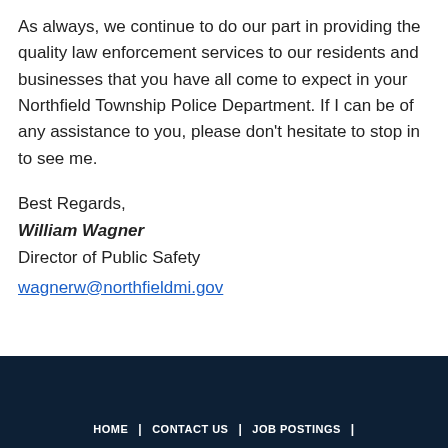As always, we continue to do our part in providing the quality law enforcement services to our residents and businesses that you have all come to expect in your Northfield Township Police Department. If I can be of any assistance to you, please don't hesitate to stop in to see me.
Best Regards,
William Wagner
Director of Public Safety
wagnerw@northfieldmi.gov
HOME  |  CONTACT US  |  JOB POSTINGS  |